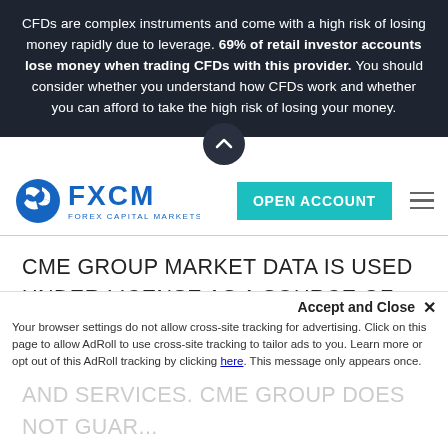CFDs are complex instruments and come with a high risk of losing money rapidly due to leverage. 69% of retail investor accounts lose money when trading CFDs with this provider. You should consider whether you understand how CFDs work and whether you can afford to take the high risk of losing your money.
[Figure (logo): FXCM - Forex Capital Markets logo with blue swoosh icon]
OPEN ACCOUNT
CME GROUP MARKET DATA IS USED UNDER LICENSE AS A SOURCE OF INFORMATION FOR CERTAIN FXCM PRODUCTS. CME GROUP HAS NO OTHER CONNECTION TO FXCM PRODUCTS AND SERVICES AS LISTED ABOVE AND DOES NOT SPONSOR, ENDORSE, RECOMMEND OR PROMOTE ANY FXCM PRODUCTS OR SERVICES. CME GROUP HAS NO OBLIGATIO
Accept and Close ×
Your browser settings do not allow cross-site tracking for advertising. Click on this page to allow AdRoll to use cross-site tracking to tailor ads to you. Learn more or opt out of this AdRoll tracking by clicking here. This message only appears once.
AND SERVICES. CME GROUP DOES NOT GUARANTEE A...